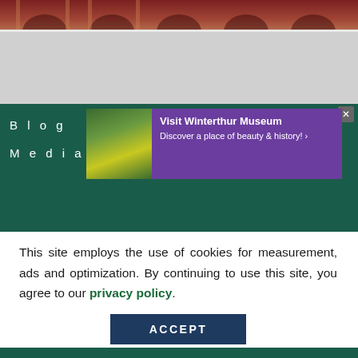[Figure (photo): Top strip showing architectural arches in reddish-brown tones]
[Figure (screenshot): Gray navigation area below top image]
Blog
Media
[Figure (infographic): Purple advertisement banner: Visit Winterthur Museum - Discover a place of beauty & history!]
This site employs the use of cookies for measurement, ads and optimization. By continuing to use this site, you agree to our privacy policy.
ACCEPT
Leave Us a Message